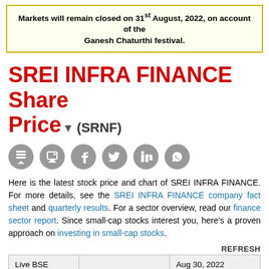Markets will remain closed on 31st August, 2022, on account of the Ganesh Chaturthi festival.
SREI INFRA FINANCE Share Price (SRNF)
[Figure (other): Row of six grey circular social sharing icons: layers/share, print, Facebook, Twitter, LinkedIn, WhatsApp]
Here is the latest stock price and chart of SREI INFRA FINANCE. For more details, see the SREI INFRA FINANCE company fact sheet and quarterly results. For a sector overview, read our finance sector report. Since small-cap stocks interest you, here's a proven approach on investing in small-cap stocks.
REFRESH
| Live BSE Quotes |  | Aug 30, 2022 (Close) |
| --- | --- | --- |
| Price (Rs) | Open (Rs) | High (Rs) | Low (Rs) |